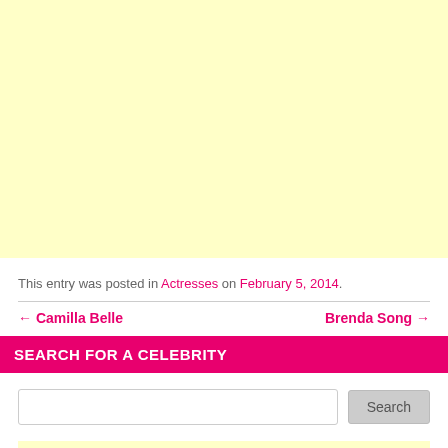[Figure (other): Large light yellow/cream colored advertisement or placeholder block]
This entry was posted in Actresses on February 5, 2014.
← Camilla Belle    Brenda Song →
SEARCH FOR A CELEBRITY
Search input box with Search button
[Figure (other): Small light yellow advertisement block at bottom]